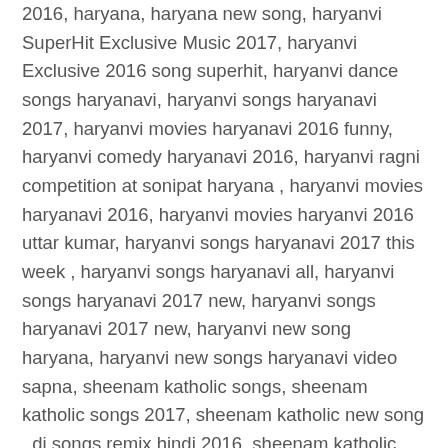2016, haryana, haryana new song, haryanvi SuperHit Exclusive Music 2017, haryanvi Exclusive 2016 song superhit, haryanvi dance songs haryanavi, haryanvi songs haryanavi 2017, haryanvi movies haryanavi 2016 funny, haryanvi comedy haryanavi 2016, haryanvi ragni competition at sonipat haryana , haryanvi movies haryanavi 2016, haryanvi movies haryanvi 2016 uttar kumar, haryanvi songs haryanavi 2017 this week , haryanvi songs haryanavi all, haryanvi songs haryanavi 2017 new, haryanvi songs haryanavi 2017 new, haryanvi new song haryana, haryanvi new songs haryanavi video sapna, sheenam katholic songs, sheenam katholic songs 2017, sheenam katholic new song , dj songs remix hindi 2016, sheenam katholic songs, sheenam katholic songs